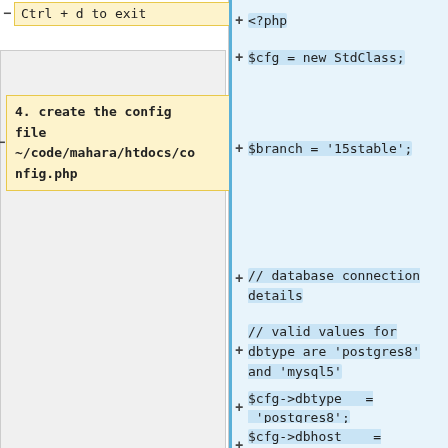Ctrl + d to exit
4. create the config file ~/code/mahara/htdocs/config.php
<?php
$cfg = new StdClass;
$branch = '15stable';
// database connection details
// valid values for dbtype are 'postgres8' and 'mysql5'
$cfg->dbtype   = 'postgres8';
$cfg->dbhost   = 'localhost';